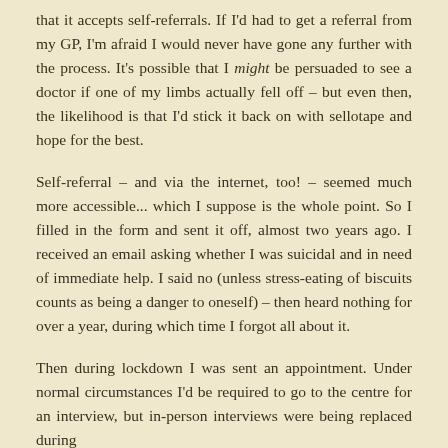that it accepts self-referrals. If I'd had to get a referral from my GP, I'm afraid I would never have gone any further with the process. It's possible that I might be persuaded to see a doctor if one of my limbs actually fell off – but even then, the likelihood is that I'd stick it back on with sellotape and hope for the best.
Self-referral – and via the internet, too! – seemed much more accessible... which I suppose is the whole point. So I filled in the form and sent it off, almost two years ago. I received an email asking whether I was suicidal and in need of immediate help. I said no (unless stress-eating of biscuits counts as being a danger to oneself) – then heard nothing for over a year, during which time I forgot all about it.
Then during lockdown I was sent an appointment. Under normal circumstances I'd be required to go to the centre for an interview, but in-person interviews were being replaced during